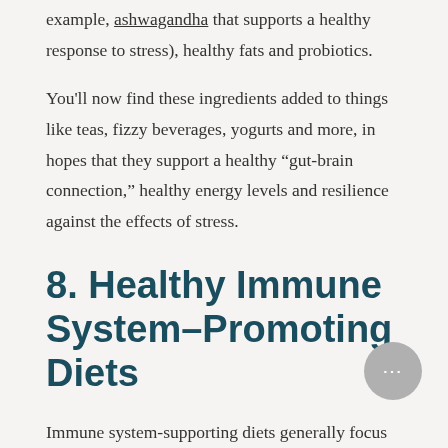example, ashwagandha that supports a healthy response to stress), healthy fats and probiotics.
You'll now find these ingredients added to things like teas, fizzy beverages, yogurts and more, in hopes that they support a healthy “gut-brain connection,” healthy energy levels and resilience against the effects of stress.
8. Healthy Immune System–Promoting Diets
Immune system-supporting diets generally focus on increasing nutrient intake and promoting a healthy gut, since the gut microbiome essentially acts as the body’s